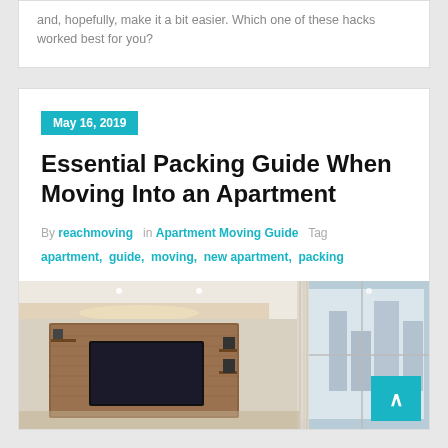and, hopefully, make it a bit easier. Which one of these hacks worked best for you?
May 16, 2019
Essential Packing Guide When Moving Into an Apartment
By reachmoving  in Apartment Moving Guide  Tag apartment, guide, moving, new apartment, packing
[Figure (photo): Interior of a modern apartment living room with a TV wall unit, recessed ceiling lighting, curtains, and city view through large windows]